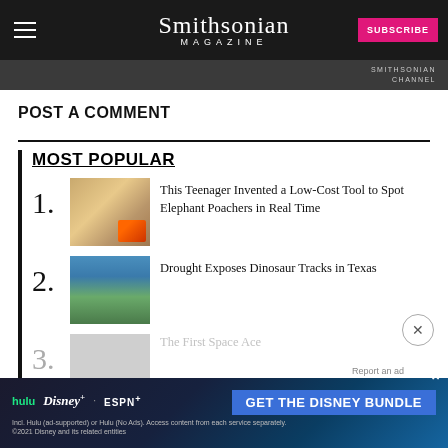Smithsonian Magazine | SUBSCRIBE
[Figure (photo): Dark nature/wildlife photo strip with Smithsonian Channel watermark]
POST A COMMENT
MOST POPULAR
1. This Teenager Invented a Low-Cost Tool to Spot Elephant Poachers in Real Time
2. Drought Exposes Dinosaur Tracks in Texas
3. The First Space Ace
[Figure (screenshot): Advertisement banner: Get the Disney Bundle (Hulu, Disney+, ESPN+)]